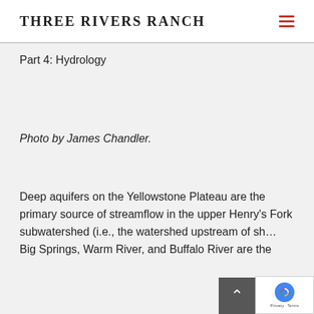THREE RIVERS RANCH
Part 4: Hydrology
Photo by James Chandler.
Deep aquifers on the Yellowstone Plateau are the primary source of streamflow in the upper Henry’s Fork subwatershed (i.e., the watershed upstream… Big Springs, Warm River, and Buffalo River are the